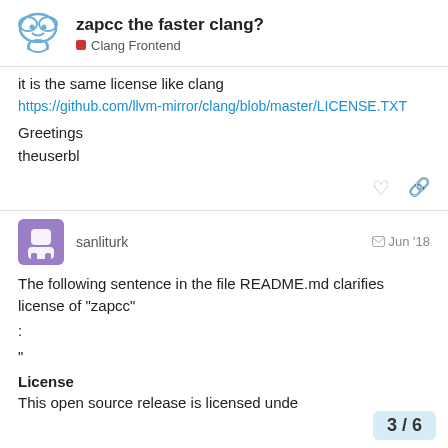zapcc the faster clang? — Clang Frontend
it is the same license like clang
https://github.com/llvm-mirror/clang/blob/master/LICENSE.TXT
Greetings
theuserbl
sanliturk — Jun '18
The following sentence in the file README.md clarifies license of "zapcc"
:
"
License
This open source release is licensed unde
3 / 6